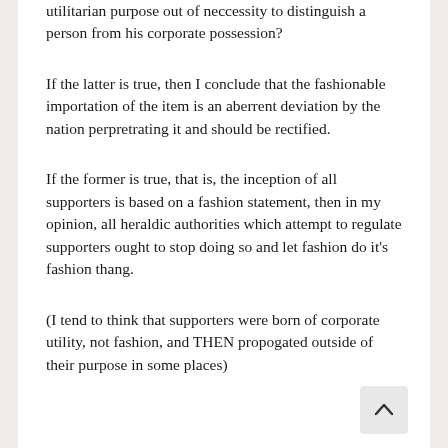utilitarian purpose out of neccessity to distinguish a person from his corporate possession?
If the latter is true, then I conclude that the fashionable importation of the item is an aberrent deviation by the nation perpretrating it and should be rectified.
If the former is true, that is, the inception of all supporters is based on a fashion statement, then in my opinion, all heraldic authorities which attempt to regulate supporters ought to stop doing so and let fashion do it's fashion thang.
(I tend to think that supporters were born of corporate utility, not fashion, and THEN propogated outside of their purpose in some places)